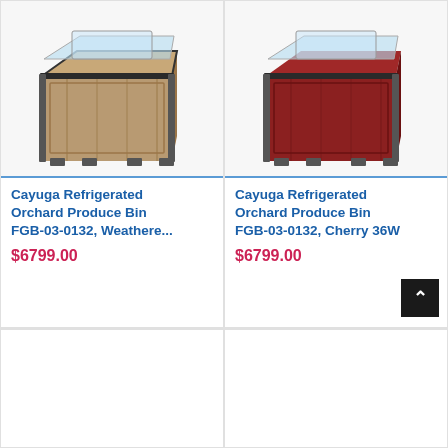[Figure (photo): Cayuga Refrigerated Orchard Produce Bin in Weathered Wood finish with clear acrylic top and black frame]
Cayuga Refrigerated Orchard Produce Bin FGB-03-0132, Weathere...
$6799.00
[Figure (photo): Cayuga Refrigerated Orchard Produce Bin in Cherry finish with clear acrylic top and black frame]
Cayuga Refrigerated Orchard Produce Bin FGB-03-0132, Cherry 36W
$6799.00